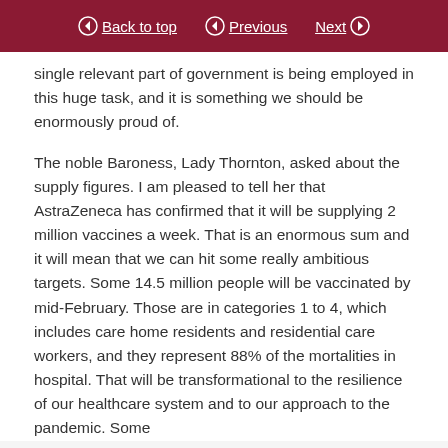Back to top | Previous | Next
single relevant part of government is being employed in this huge task, and it is something we should be enormously proud of.
The noble Baroness, Lady Thornton, asked about the supply figures. I am pleased to tell her that AstraZeneca has confirmed that it will be supplying 2 million vaccines a week. That is an enormous sum and it will mean that we can hit some really ambitious targets. Some 14.5 million people will be vaccinated by mid-February. Those are in categories 1 to 4, which includes care home residents and residential care workers, and they represent 88% of the mortalities in hospital. That will be transformational to the resilience of our healthcare system and to our approach to the pandemic. Some